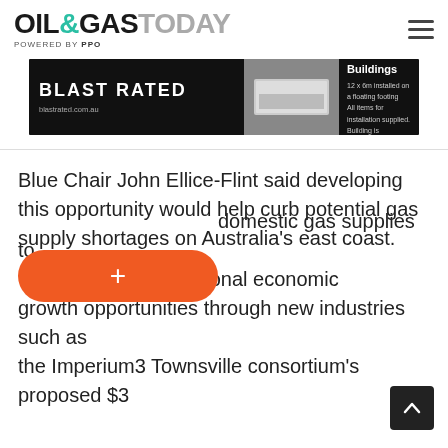OIL&GASTODAY POWERED BY PPO
[Figure (photo): Blast Rated advertisement banner showing blast resistant buildings. Text: BLAST RATED, blastrated.com.au, Blast Resistant Buildings, 12 x 6m installed on a floating footing, All items for installation supplied, Building is transported on 5 semi-trailers.]
Blue Chair John Ellice-Flint said developing this opportunity would help curb potential gas supply shortages on Australia's east coast.
domestic gas supplies to er regional economic growth opportunities through new industries such as the Imperium3 Townsville consortium's proposed $3 billion 10 GWh lithium-ion battery value of start.